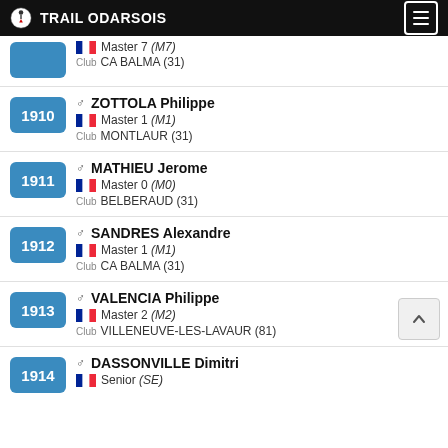TRAIL ODARSOIS
Master 7 (M7) Club CA BALMA (31)
1910 ZOTTOLA Philippe Master 1 (M1) Club MONTLAUR (31)
1911 MATHIEU Jerome Master 0 (M0) Club BELBERAUD (31)
1912 SANDRES Alexandre Master 1 (M1) Club CA BALMA (31)
1913 VALENCIA Philippe Master 2 (M2) Club VILLENEUVE-LES-LAVAUR (81)
1914 DASSONVILLE Dimitri Senior (SE)